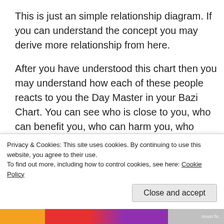This is just an simple relationship diagram. If you can understand the concept you may derive more relationship from here.

After you have understood this chart then you may understand how each of these people reacts to you the Day Master in your Bazi Chart. You can see who is close to you, who can benefit you, who can harm you, who brings you wealth, who causes you all
Privacy & Cookies: This site uses cookies. By continuing to use this website, you agree to their use.
To find out more, including how to control cookies, see here: Cookie Policy
Close and accept